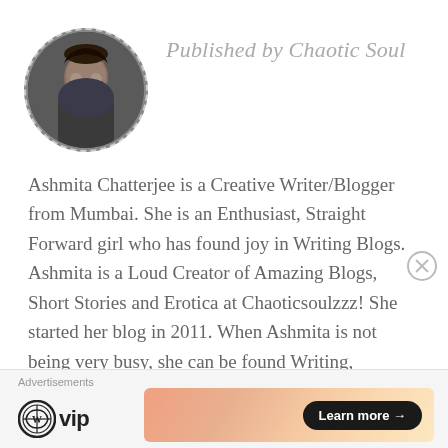[Figure (photo): Circular avatar photo of a woman with glasses]
Published by Chaotic Soul
Ashmita Chatterjee is a Creative Writer/Blogger from Mumbai. She is an Enthusiast, Straight Forward girl who has found joy in Writing Blogs. Ashmita is a Loud Creator of Amazing Blogs, Short Stories and Erotica at Chaoticsoulzzz! She started her blog in 2011. When Ashmita is not being very busy, she can be found Writing, Reading, Eating, or Recklessly Travelling with her loved ones. She is known by the name of @chaoticsoulzzz on her Twitter and
Advertisements
[Figure (logo): WordPress VIP logo with W circle icon and 'vip' text]
[Figure (infographic): Advertisement banner with orange/peach gradient and 'Learn more →' button]